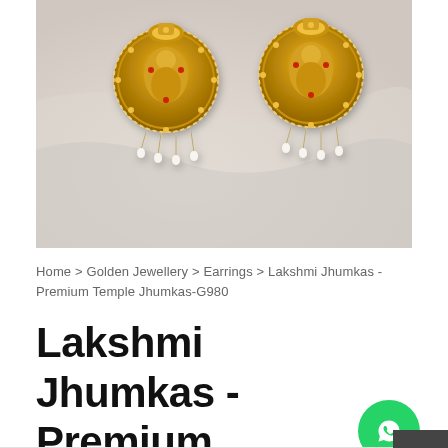[Figure (photo): Two golden temple-style Lakshmi Jhumka earrings placed on white fabric. Earrings are ornate gold with religious motifs, pearl drops, and intricate filigree work.]
Home > Golden Jewellery > Earrings > Lakshmi Jhumkas -Premium Temple Jhumkas-G980
Lakshmi Jhumkas - Premium Temple Jhumkas-G980